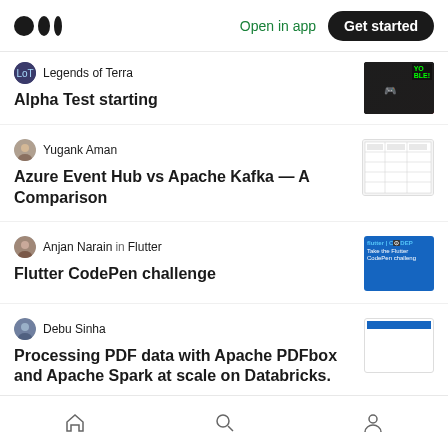Medium logo | Open in app | Get started
Legends of Terra — Alpha Test starting
Yugank Aman — Azure Event Hub vs Apache Kafka — A Comparison
Anjan Narain in Flutter — Flutter CodePen challenge
Debu Sinha — Processing PDF data with Apache PDFbox and Apache Spark at scale on Databricks.
Home | Search | Profile